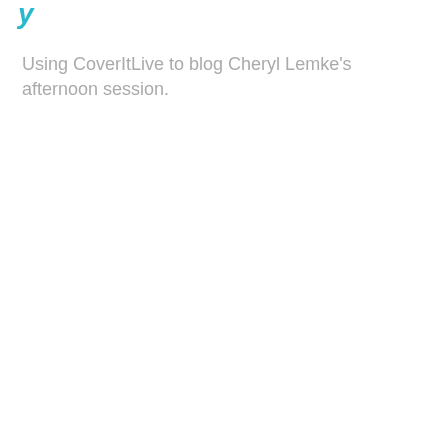y
Using CoverItLive to blog Cheryl Lemke's afternoon session.